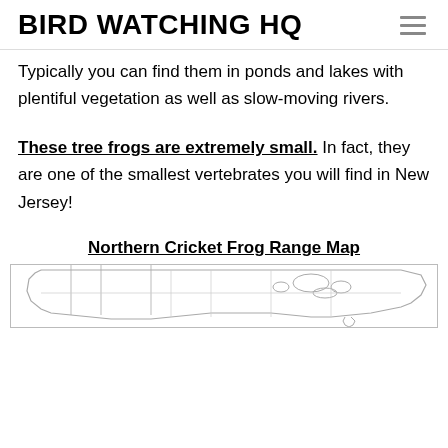BIRD WATCHING HQ
Typically you can find them in ponds and lakes with plentiful vegetation as well as slow-moving rivers.
These tree frogs are extremely small. In fact, they are one of the smallest vertebrates you will find in New Jersey!
Northern Cricket Frog Range Map
[Figure (map): Partial view of a Northern Cricket Frog Range Map showing outline map of the United States]